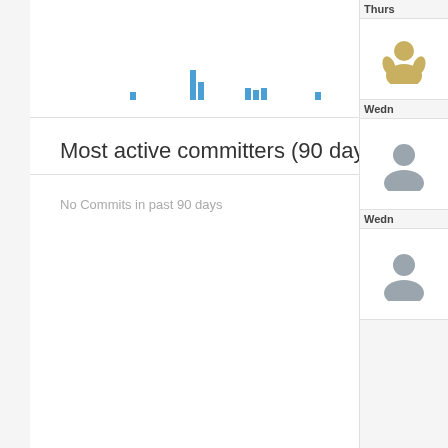[Figure (bar-chart): Small bar chart showing commit activity over time with blue bars of varying heights]
Most active committers (90 days)
No Commits in past 90 days
Thurs
Wedn
Wedn